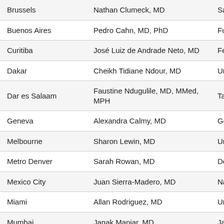| City | Name | Affiliation (partial) |
| --- | --- | --- |
| Brussels | Nathan Clumeck, MD | Sa… |
| Buenos Aires | Pedro Cahn, MD, PhD | Fu… |
| Curitiba | José Luiz de Andrade Neto, MD | Fe… |
| Dakar | Cheikh Tidiane Ndour, MD | Ur… |
| Dar es Salaam | Faustine Ndugulile, MD, MMed, MPH | Ta… |
| Geneva | Alexandra Calmy, MD | Ge… |
| Melbourne | Sharon Lewin, MD | Ur… |
| Metro Denver | Sarah Rowan, MD | De… |
| Mexico City | Juan Sierra-Madero, MD | Na… |
| Miami | Allan Rodriguez, MD | Ur… |
| Mumbai | Janak Maniar, MD | Ja… |
| Nairobi | Elizabeth Bukusi, MBChB, MMed, MPH, PhD | Ke… |
| Paris | Christine Katlama, MD |  |